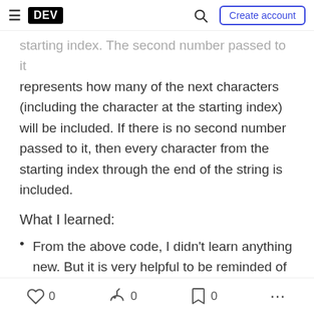DEV — Create account
starting index. The second number passed to it represents how many of the next characters (including the character at the starting index) will be included. If there is no second number passed to it, then every character from the starting index through the end of the string is included.
What I learned:
From the above code, I didn't learn anything new. But it is very helpful to be reminded of how these types of methods work. And review, no matter the topic, is always welcome.
From other parts of this section of instruction, I
0  0  0  ...